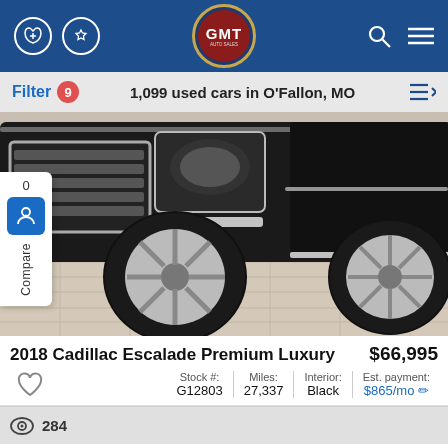GMT Auto Sales — Navigation header with phone, directions, logo, search, and menu icons
Filter 9 — 1,099 used cars in O'Fallon, MO
[Figure (photo): Front close-up of a black 2018 Cadillac Escalade SUV on light wood-tile flooring in a dealership showroom, showing the grille, headlights, chrome trim, and front wheel with chrome multi-spoke wheels.]
2018 Cadillac Escalade Premium Luxury    $66,995
Stock #: G12803 | Miles: 27,337 | Interior: Black | Est. payment: $865/mo
284 views